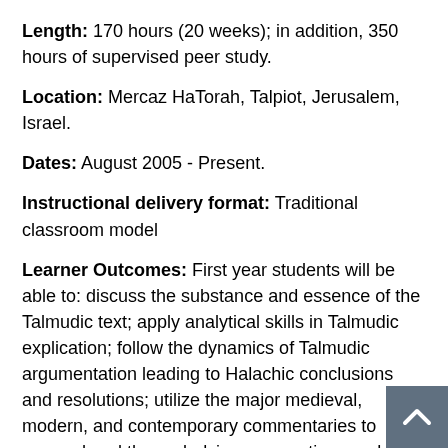Length: 170 hours (20 weeks); in addition, 350 hours of supervised peer study.
Location: Mercaz HaTorah, Talpiot, Jerusalem, Israel.
Dates: August 2005 - Present.
Instructional delivery format: Traditional classroom model
Learner Outcomes: First year students will be able to: discuss the substance and essence of the Talmudic text; apply analytical skills in Talmudic explication; follow the dynamics of Talmudic argumentation leading to Halachic conclusions and resolutions; utilize the major medieval, modern, and contemporary commentaries to comprehend the underlying assumptions and consequences of the legal principles implicit in the text. Second year students and beyond: In addition to the outcomes above, students will be able to analyze